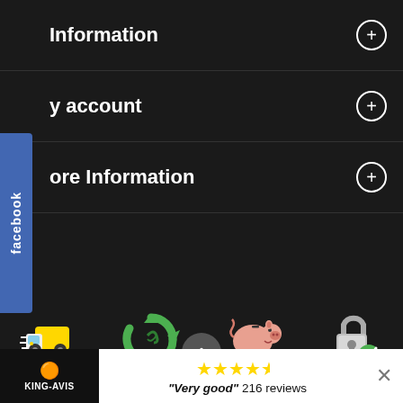Information
y account
ore Information
[Figure (illustration): Yellow delivery truck cartoon icon]
Delivery in 3 to 5 working days (Switzerland)
[Figure (illustration): Green recycling arrows icon]
7-day exchange right (extendable)
[Figure (illustration): Pink piggy bank cartoon icon]
Credit note upon receipt of your return
[Figure (illustration): Silver padlock with green checkmark icon]
Secure payment
KING-AVIS — "Very good" 216 reviews (4.5 stars)